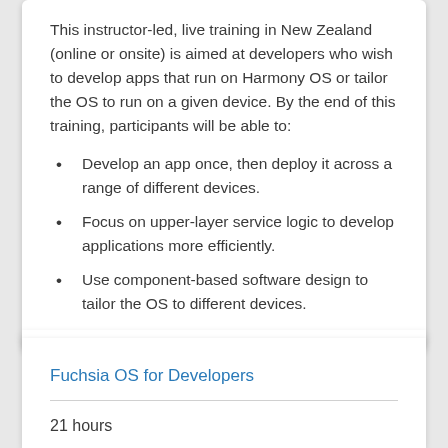This instructor-led, live training in New Zealand (online or onsite) is aimed at developers who wish to develop apps that run on Harmony OS or tailor the OS to run on a given device. By the end of this training, participants will be able to:
Develop an app once, then deploy it across a range of different devices.
Focus on upper-layer service logic to develop applications more efficiently.
Use component-based software design to tailor the OS to different devices.
Fuchsia OS for Developers
21 hours